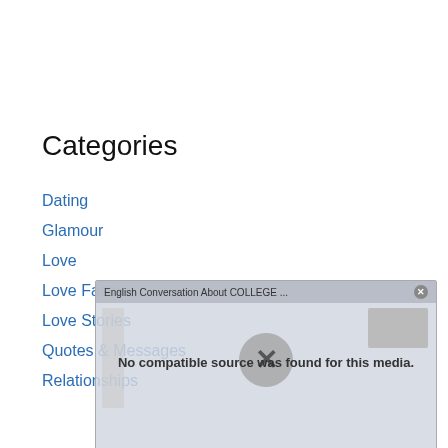Categories
Dating
Glamour
Love
Love Facts
Love Stories
Quotes & Messages
Relationships
[Figure (screenshot): A video player overlay showing 'English Conversation About COLLEGE ...' with message 'No compatible source was found for this media.' and a large X close button in center.]